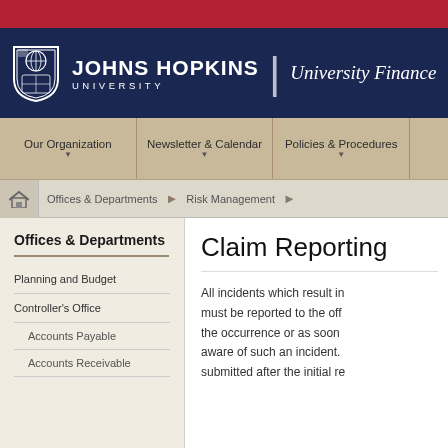Johns Hopkins University | University Finance
Our Organization | Newsletter & Calendar | Policies & Procedures
Offices & Departments > Risk Management
Offices & Departments
Planning and Budget
Controller's Office
Accounts Payable
Accounts Receivable
Claim Reporting
All incidents which result in... must be reported to the off... the occurrence or as soon... aware of such an incident.... submitted after the initial re...